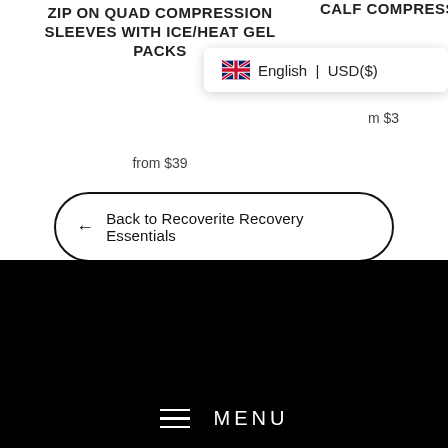ZIP ON QUAD COMPRESSION SLEEVES WITH ICE/HEAT GEL PACKS
from $39
CALF COMPRESS...
from $3...
English | USD($)
← Back to Recoverite Recovery Essentials
MENU